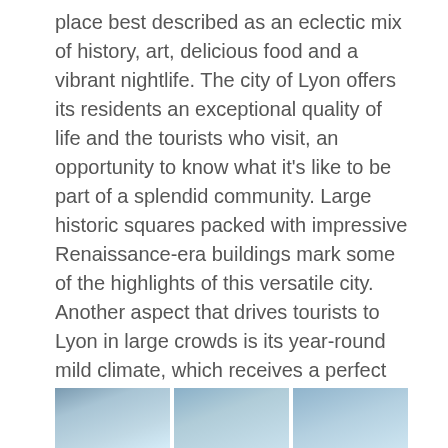place best described as an eclectic mix of history, art, delicious food and a vibrant nightlife. The city of Lyon offers its residents an exceptional quality of life and the tourists who visit, an opportunity to know what it's like to be part of a splendid community. Large historic squares packed with impressive Renaissance-era buildings mark some of the highlights of this versatile city. Another aspect that drives tourists to Lyon in large crowds is its year-round mild climate, which receives a perfect mix of cold winds from the Alps in winters and warm summer winds from the Mediterranean Sea.
If you are planning a trip to this culturally rich city sometime soon, here is what you need to know about the best times to visit Lyon and its changing weather patterns.
Summer (June – August)
[Figure (photo): Partial view of images related to Lyon in summer, showing outdoor scenes]